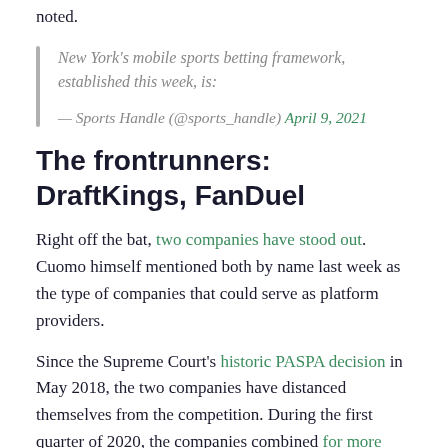noted.
New York's mobile sports betting framework, established this week, is:

— Sports Handle (@sports_handle) April 9, 2021
The frontrunners: DraftKings, FanDuel
Right off the bat, two companies have stood out. Cuomo himself mentioned both by name last week as the type of companies that could serve as platform providers.
Since the Supreme Court's historic PASPA decision in May 2018, the two companies have distanced themselves from the competition. During the first quarter of 2020, the companies combined for more than 75% of New Jersey's